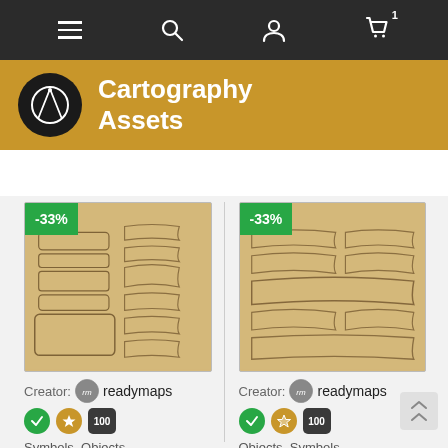Navigation bar with hamburger menu, search, user, and cart icons
Cartography Assets
[Figure (screenshot): Two product cards showing vintage scroll/ribbon clipart collections with -33% discount badges. Each card shows: creator 'readymaps', green checkmark badge, gold star badge, dark '100' badge, and category tags 'Symbols, Objects' and 'Objects, Symbols'.]